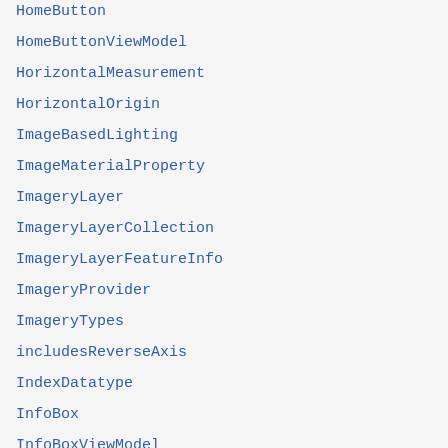HomeButton
HomeButtonViewModel
HorizontalMeasurement
HorizontalOrigin
ImageBasedLighting
ImageMaterialProperty
ImageryLayer
ImageryLayerCollection
ImageryLayerFeatureInfo
ImageryProvider
ImageryTypes
includesReverseAxis
IndexDatatype
InfoBox
InfoBoxViewModel
Intersect
Intersections2D
IntersectionTests
Interval